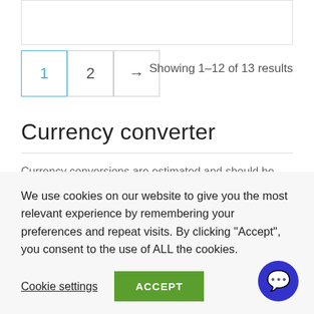Showing 1–12 of 13 results
Currency converter
Currency conversions are estimated and should be used for informational purposes only.
GBP (£)  USD ($)  EUR (€)
We use cookies on our website to give you the most relevant experience by remembering your preferences and repeat visits. By clicking "Accept", you consent to the use of ALL the cookies.
Cookie settings
ACCEPT